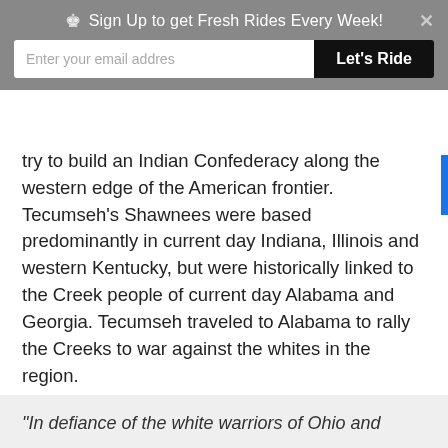Sign Up to get Fresh Rides Every Week!
try to build an Indian Confederacy along the western edge of the American frontier. Tecumseh's Shawnees were based predominantly in current day Indiana, Illinois and western Kentucky, but were historically linked to the Creek people of current day Alabama and Georgia. Tecumseh traveled to Alabama to rally the Creeks to war against the whites in the region.
Below is Tecumseh's speech to the Creeks at Tuckabathcee in October 1811 as told by Sam Dale to JFH Claiborne;
“In defiance of the white warriors of Ohio and